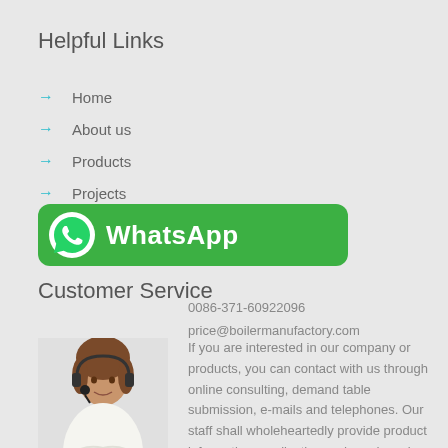Helpful Links
Home
About us
Products
Projects
Contact
Customer Service
[Figure (photo): Customer service representative woman with headset]
If you are interested in our company or products, you can contact with us through online consulting, demand table submission, e-mails and telephones. Our staff shall wholeheartedly provide product information, application and good service for you.
[Figure (logo): WhatsApp button with logo and text]
0086-371-60922096
price@boilermanufactory.com